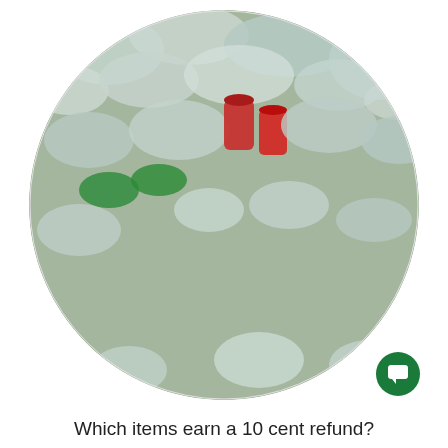[Figure (photo): Circular cropped photo of two people lying among a huge pile of crushed plastic bottles and aluminium cans. The people are partially buried in the recyclable containers.]
Which items earn a 10 cent refund?